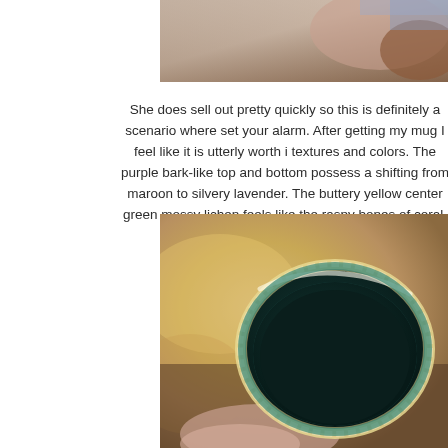[Figure (photo): Partial view of a person's hands or body, cropped at the top of the page, blurred background]
She does sell out pretty quickly so this is definitely a scenario where set your alarm. After getting my mug I feel like it is utterly worth it textures and colors. The purple bark-like top and bottom possess a shifting from maroon to silvery lavender. The buttery yellow center green mossy lichen feels like the raspy bones of coral. The mush
[Figure (photo): Close-up photo of a ceramic mug with teal/dark green interior glaze and rough textured rim, held by a person's hands, with blurred warm-toned background]